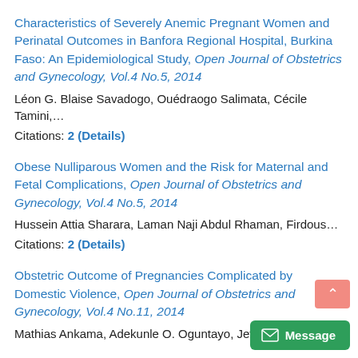Characteristics of Severely Anemic Pregnant Women and Perinatal Outcomes in Banfora Regional Hospital, Burkina Faso: An Epidemiological Study, Open Journal of Obstetrics and Gynecology, Vol.4 No.5, 2014
Léon G. Blaise Savadogo, Ouédraogo Salimata, Cécile Tamini,…
Citations: 2 (Details)
Obese Nulliparous Women and the Risk for Maternal and Fetal Complications, Open Journal of Obstetrics and Gynecology, Vol.4 No.5, 2014
Hussein Attia Sharara, Laman Naji Abdul Rhaman, Firdous…
Citations: 2 (Details)
Obstetric Outcome of Pregnancies Complicated by Domestic Violence, Open Journal of Obstetrics and Gynecology, Vol.4 No.11, 2014
Mathias Ankama, Adekunle O. Oguntayo, Jefry T. Akuse